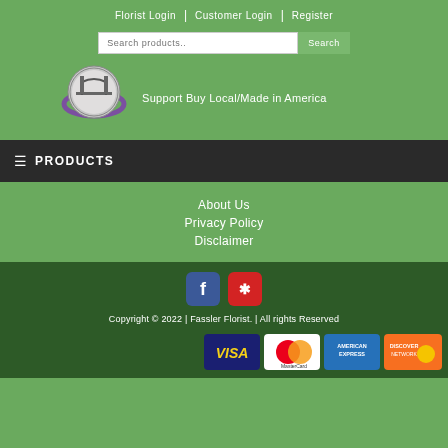Florist Login | Customer Login | Register
[Figure (logo): City to City Flowers circular logo with bridge graphic and purple swoosh]
Support Buy Local/Made in America
PRODUCTS
About Us
Privacy Policy
Disclaimer
[Figure (other): Social media icons: Facebook (blue) and Yelp (red)]
Copyright © 2022 | Fassler Florist. | All rights Reserved
[Figure (other): Payment method icons: VISA, MasterCard, American Express, Discover]